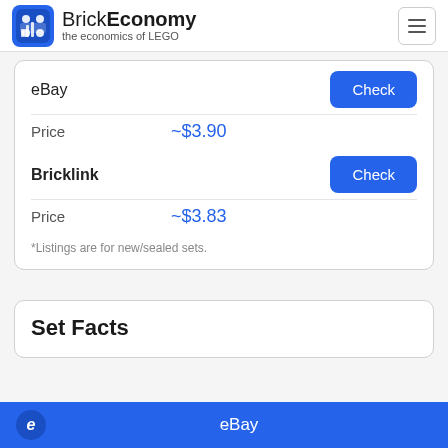BrickEconomy — the economics of LEGO
eBay
Price ~$3.90
Bricklink
Price ~$3.83
*Listings are for new/sealed sets.
Set Facts
eBay